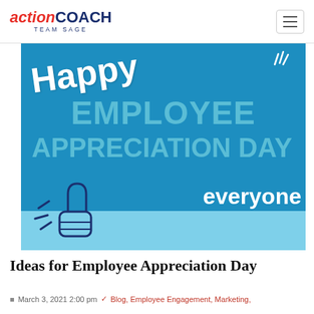ActionCOACH TEAM SAGE
[Figure (illustration): Happy Employee Appreciation Day banner image with blue background, white script text 'Happy', large light blue block letters 'EMPLOYEE APPRECIATION DAY', white script 'everyone', dark blue thumbs up illustration, and sparkle marks.]
Ideas for Employee Appreciation Day
March 3, 2021 2:00 pm   Blog, Employee Engagement, Marketing,